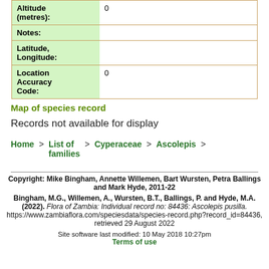| Label | Value |
| --- | --- |
| Altitude (metres): | 0 |
| Notes: |  |
| Latitude, Longitude: |  |
| Location Accuracy Code: | 0 |
Map of species record
Records not available for display
Home > List of families > Cyperaceae > Ascolepis >
Copyright: Mike Bingham, Annette Willemen, Bart Wursten, Petra Ballings and Mark Hyde, 2011-22

Bingham, M.G., Willemen, A., Wursten, B.T., Ballings, P. and Hyde, M.A. (2022). Flora of Zambia: Individual record no: 84436: Ascolepis pusilla. https://www.zambiaflora.com/speciesdata/species-record.php?record_id=84436, retrieved 29 August 2022

Site software last modified: 10 May 2018 10:27pm
Terms of use